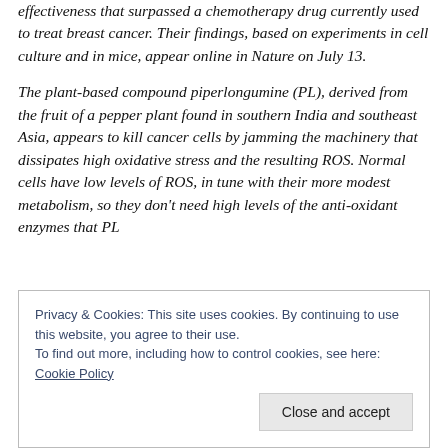effectiveness that surpassed a chemotherapy drug currently used to treat breast cancer. Their findings, based on experiments in cell culture and in mice, appear online in Nature on July 13.
The plant-based compound piperlongumine (PL), derived from the fruit of a pepper plant found in southern India and southeast Asia, appears to kill cancer cells by jamming the machinery that dissipates high oxidative stress and the resulting ROS. Normal cells have low levels of ROS, in tune with their more modest metabolism, so they don't need high levels of the anti-oxidant enzymes that PL
Privacy & Cookies: This site uses cookies. By continuing to use this website, you agree to their use.
To find out more, including how to control cookies, see here: Cookie Policy